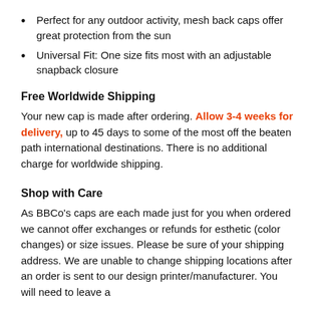Perfect for any outdoor activity, mesh back caps offer great protection from the sun
Universal Fit: One size fits most with an adjustable snapback closure
Free Worldwide Shipping
Your new cap is made after ordering. Allow 3-4 weeks for delivery, up to 45 days to some of the most off the beaten path international destinations. There is no additional charge for worldwide shipping.
Shop with Care
As BBCo's caps are each made just for you when ordered we cannot offer exchanges or refunds for esthetic (color changes) or size issues. Please be sure of your shipping address. We are unable to change shipping locations after an order is sent to our design printer/manufacturer. You will need to leave a